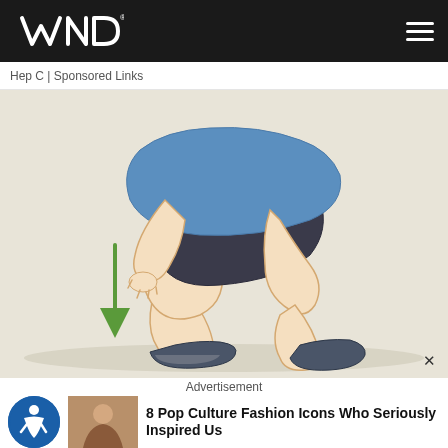WND
Hep C | Sponsored Links
[Figure (illustration): Cartoon illustration of a person in a squat position wearing a blue shirt and dark shorts with sneakers. A green downward arrow is visible on the left side indicating downward movement.]
Advertisement
8 Pop Culture Fashion Icons Who Seriously Inspired Us